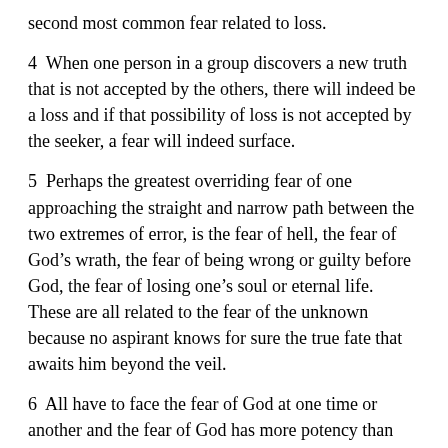second most common fear related to loss.
4  When one person in a group discovers a new truth that is not accepted by the others, there will indeed be a loss and if that possibility of loss is not accepted by the seeker, a fear will indeed surface.
5  Perhaps the greatest overriding fear of one approaching the straight and narrow path between the two extremes of error, is the fear of hell, the fear of God’s wrath, the fear of being wrong or guilty before God, the fear of losing one’s soul or eternal life. These are all related to the fear of the unknown because no aspirant knows for sure the true fate that awaits him beyond the veil.
6  All have to face the fear of God at one time or another and the fear of God has more potency than any fear of a devil.
7  Fear is not always related to illusionary beliefs